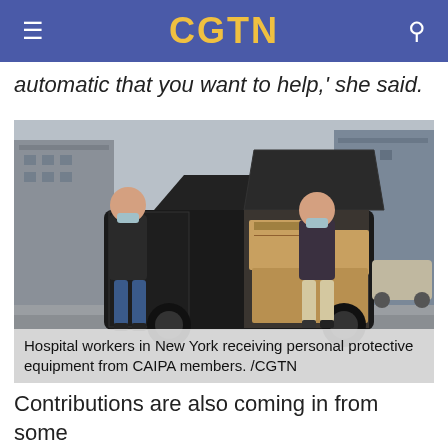CGTN
automatic that you want to help,' she said.
[Figure (photo): Two women wearing face masks standing beside an SUV with open trunk filled with cardboard boxes of personal protective equipment, on a city street in New York.]
Hospital workers in New York receiving personal protective equipment from CAIPA members. /CGTN
Contributions are also coming in from some